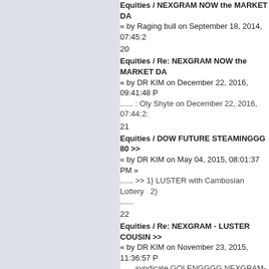Equities / NEXGRAM NOW the MARKET DA
« by Raging bull on September 18, 2014, 07:45:2
20
Equities / Re: NEXGRAM NOW the MARKET DA
« by DR KIM on December 22, 2016, 09:41:48 P
...... : Oly Shyte on December 22, 2016, 07:44:2:
21
Equities / DOW FUTURE STEAMINGGG 80 >>
« by DR KIM on May 04, 2015, 08:01:37 PM »
......  >>  1} LUSTER with Cambosian Lottery  2)
......
22
Equities / Re: NEXGRAM - LUSTER COUSIN >>
« by DR KIM on November 23, 2015, 11:36:57 P
......  syndicate GOLENGGGG NEXGRAM-LUST
23
Equities / NEXGRAM - LUSTER COUSIN >> HC
« by DR KIM on November 23, 2015, 03:27:18 P
......  OUT >> MORE TO COME  NEXGRAM - LU
24
Equities / {{ IRETEX }}TAKE-OVERS & MERGER
« by Richard188 on November 20, 2015, 10:19:0
......   FROM MERCURY SECURITIES SDN. BH
You are advised to read the  ......
25
Equities / Re: NEXGRAM RALLY >> PERFECT C
« by DR KIM on May 14, 2015, 04:31:40 PM »
......  on May 14, 2015, 10:20:18 AM  Dr. Kim,  He
still  ......
26
Equities / NEXGRAM & WA-WB-WC IN DANGE
« by DR KIM on December 31, 2014, 07:02:49 A
27